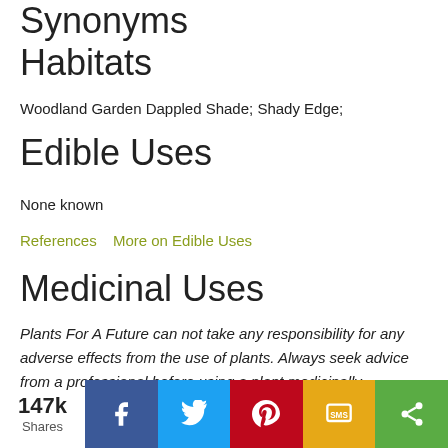Synonyms
Habitats
Woodland Garden Dappled Shade; Shady Edge;
Edible Uses
None known
References   More on Edible Uses
Medicinal Uses
Plants For A Future can not take any responsibility for any adverse effects from the use of plants. Always seek advice from a professional before using a plant medicinally.
[Figure (infographic): Social sharing bar with 147k Shares count, and buttons for Facebook, Twitter, Pinterest, SMS, and general share]